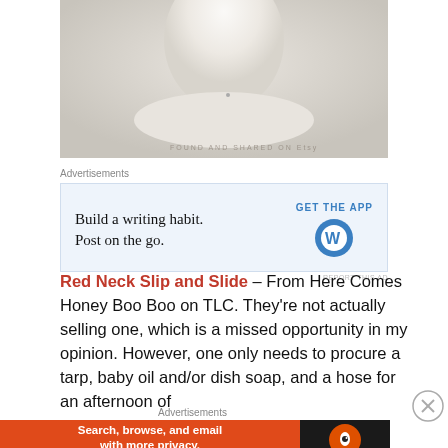[Figure (photo): Close-up photo of a white ceramic or porcelain object (likely a figurine or decorative piece) with a watermark referencing Etsy]
Advertisements
[Figure (screenshot): Advertisement for WordPress app: 'Build a writing habit. Post on the go.' with GET THE APP button and WordPress logo]
Red Neck Slip and Slide – From Here Comes Honey Boo Boo on TLC. They're not actually selling one, which is a missed opportunity in my opinion. However, one only needs to procure a tarp, baby oil and/or dish soap, and a hose for an afternoon of
Advertisements
[Figure (screenshot): DuckDuckGo advertisement: 'Search, browse, and email with more privacy. All in One Free App']